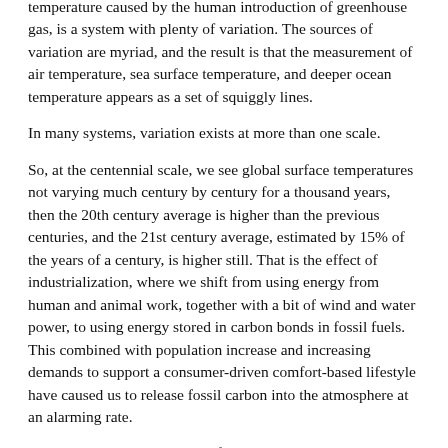temperature caused by the human introduction of greenhouse gas, is a system with plenty of variation. The sources of variation are myriad, and the result is that the measurement of air temperature, sea surface temperature, and deeper ocean temperature appears as a set of squiggly lines.
In many systems, variation exists at more than one scale.
So, at the centennial scale, we see global surface temperatures not varying much century by century for a thousand years, then the 20th century average is higher than the previous centuries, and the 21st century average, estimated by 15% of the years of a century, is higher still. That is the effect of industrialization, where we shift from using energy from human and animal work, together with a bit of wind and water power, to using energy stored in carbon bonds in fossil fuels. This combined with population increase and increasing demands to support a consumer-driven comfort-based lifestyle have caused us to release fossil carbon into the atmosphere at an alarming rate.
At the decadal scale, we see a few recent decades that stick up above the others, and a few that are lower than others or at least don't go up as much as others. Over the last 100 years, the decadal average temperatures have gone up on average, but with variation. The primary explanation for this variation is two